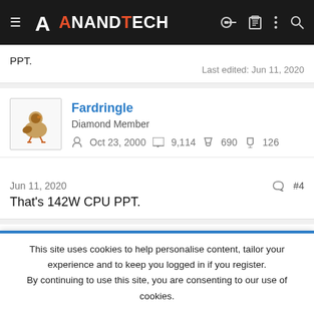[Figure (logo): AnandTech website navigation bar with hamburger menu, logo, and icons]
PPT.
Last edited: Jun 11, 2020
Fardringle
Diamond Member
Oct 23, 2000  9,114  690  126
Jun 11, 2020  #4
That's 142W CPU PPT.
StefanRED
This site uses cookies to help personalise content, tailor your experience and to keep you logged in if you register.
By continuing to use this site, you are consenting to our use of cookies.